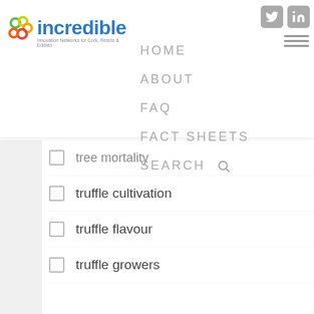[Figure (logo): INCREDIBLE project logo with colorful interlocking rings and text 'incredible Innovation Networks for Cork, Resins & Edibles']
[Figure (other): Twitter and LinkedIn social media icons in gray, plus hamburger menu icon]
HOME
ABOUT
FAQ
FACT SHEETS
SEARCH
tree mortality
truffle cultivation
truffle flavour
truffle growers